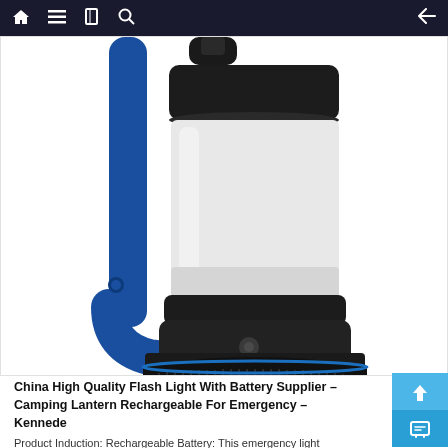Navigation bar with home, menu, book, search icons and back arrow
[Figure (photo): Close-up product photo of a camping lantern with a blue handle/frame, white cylindrical light globe, and black base with ribbed bottom edge. The lantern is shown against a white background.]
China High Quality Flash Light With Battery Supplier – Camping Lantern Rechargeable For Emergency – Kennede
Product Induction: Rechargeable Battery: This emergency light built-in lithium has a life span of up to 50,000 hours. It can be fully charged in 10 hours, and it ca